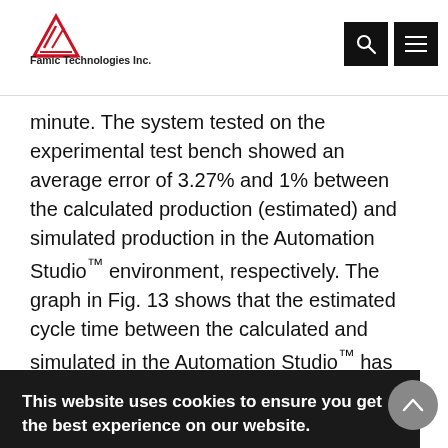Famic Technologies Inc.
minute. The system tested on the experimental test bench showed an average error of 3.27% and 1% between the calculated production (estimated) and simulated production in the Automation Studio™ environment, respectively. The graph in Fig. 13 shows that the estimated cycle time between the calculated and simulated in the Automation Studio™ has similar curves
This website uses cookies to ensure you get the best experience on our website. Learn more
Got it!
obtained from the PSO algorithm and commercial values